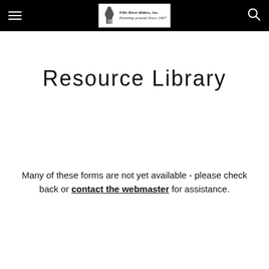Ellis River Riders, Inc.
Resource Library
Many of these forms are not yet available - please check back or contact the webmaster for assistance.